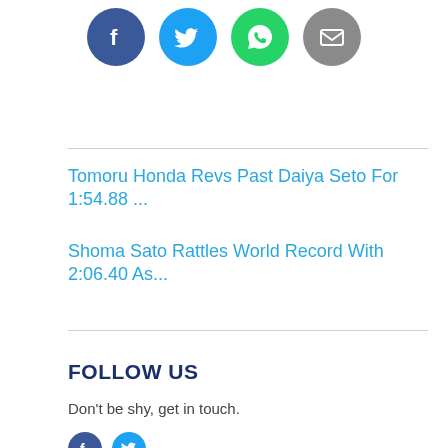[Figure (infographic): Row of four social media share icons: Facebook (dark blue circle with f), Twitter (light blue circle with bird), WhatsApp (green circle with phone/chat), Email (grey circle with envelope)]
Tomoru Honda Revs Past Daiya Seto For 1:54.88 ...
Shoma Sato Rattles World Record With 2:06.40 As...
FOLLOW US
Don't be shy, get in touch.
[Figure (infographic): Row of small social media icons: Facebook and Twitter circles]